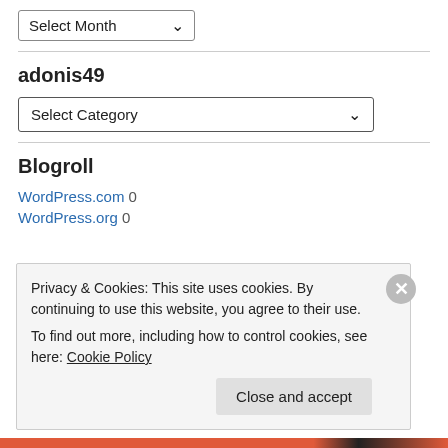Select Month (dropdown)
adonis49
Select Category (dropdown)
Blogroll
WordPress.com 0
WordPress.org 0
Privacy & Cookies: This site uses cookies. By continuing to use this website, you agree to their use.
To find out more, including how to control cookies, see here: Cookie Policy
Close and accept